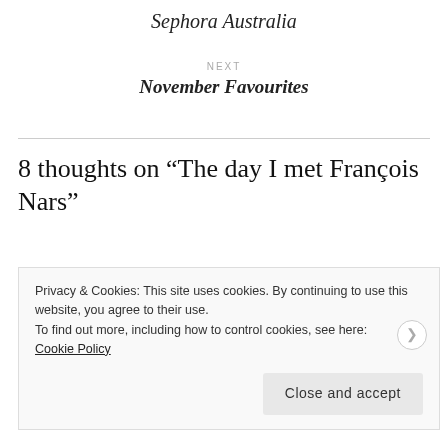Sephora Australia
NEXT
November Favourites
8 thoughts on “The day I met François Nars”
Privacy & Cookies: This site uses cookies. By continuing to use this website, you agree to their use.
To find out more, including how to control cookies, see here:
Cookie Policy
Close and accept